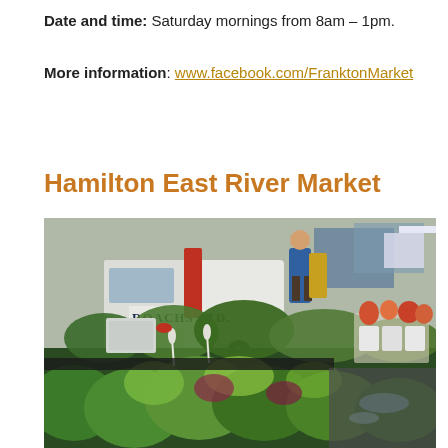Date and time: Saturday mornings from 8am – 1pm.
More information: www.facebook.com/FranktonMarket
Hamilton East River Market
[Figure (photo): Outdoor market scene with tables displaying plants and greenery, a white van with 'Roachs Ltd.' signage, market stalls with flowers and produce, and a person in blue shirt working in the background. Wet pavement visible.]